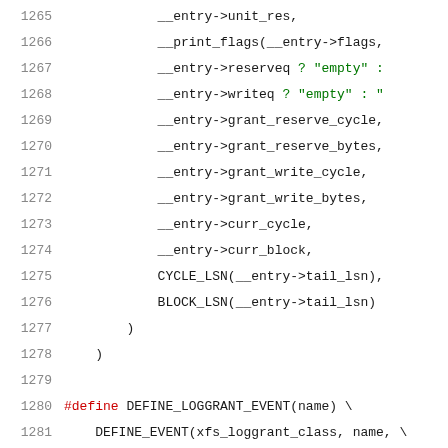[Figure (screenshot): Source code listing showing C/Linux kernel tracepoint macro definitions, lines 1265-1286, with line numbers in gray, keywords in blue and green, string literals in green.]